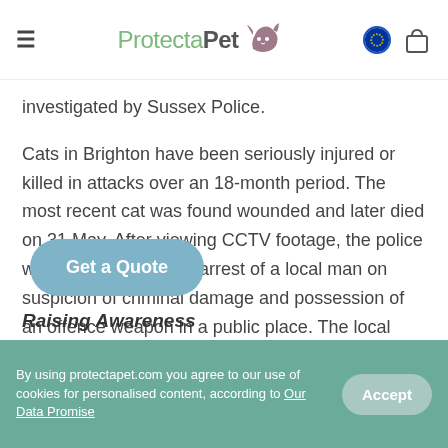ProtectaPet
investigated by Sussex Police.
Cats in Brighton have been seriously injured or killed in attacks over an 18-month period. The most recent cat was found wounded and later died on 31 May. After viewing CCTV footage, the police were able to make an arrest of a local man on suspicion of criminal damage and possession of an offence weapon in a public place. The local man was given bail until 28 June.
Raising Awareness
By using protectapet.com you agree to our use of cookies for personalised content, according to Our Data Promise